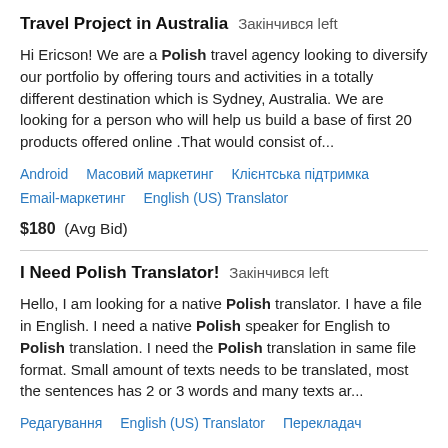Travel Project in Australia  Закінчився left
Hi Ericson! We are a Polish travel agency looking to diversify our portfolio by offering tours and activities in a totally different destination which is Sydney, Australia. We are looking for a person who will help us build a base of first 20 products offered online .That would consist of...
Android   Масовий маркетинг   Клієнтська підтримка   Email-маркетинг   English (US) Translator
$180  (Avg Bid)
I Need Polish Translator!  Закінчився left
Hello, I am looking for a native Polish translator. I have a file in English. I need a native Polish speaker for English to Polish translation. I need the Polish translation in same file format. Small amount of texts needs to be translated, most the sentences has 2 or 3 words and many texts ar...
Редагування   English (US) Translator   Перекладач